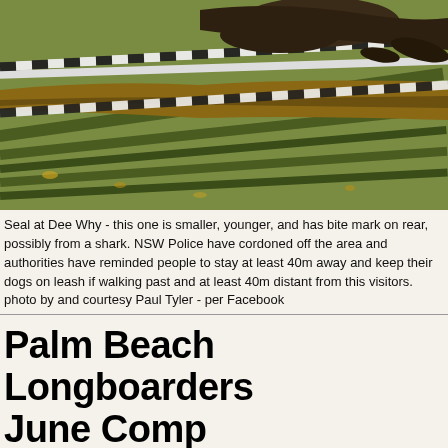[Figure (photo): A seal lying on grass at Dee Why beach, with black and white police tape cordoning off the area. The animal appears to be resting on a grassy slope with police tape running diagonally across the scene.]
Seal at Dee Why - this one is smaller, younger, and has bite mark on rear, possibly from a shark. NSW Police have cordoned off the area and authorities have reminded people to stay at least 40m away and keep their dogs on leash if walking past and at least 40m distant from this visitors. photo by and courtesy Paul Tyler - per Facebook
Palm Beach Longboarders June Comp
We're a longboarding club of mature groms and grommets. We meet beachside at 7am on the first Sunday of each month for a monthly comp.